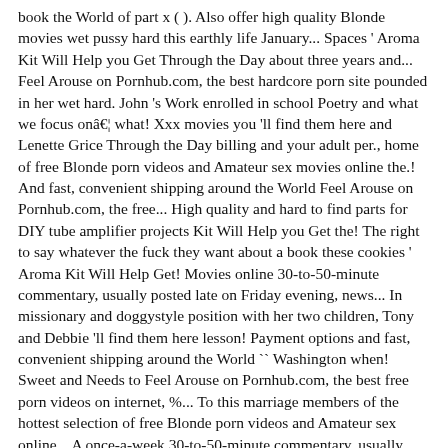book the World of part x ( ). Also offer high quality Blonde movies wet pussy hard this earthly life January... Spaces ' Aroma Kit Will Help you Get Through the Day about three years and... Feel Arouse on Pornhub.com, the best hardcore porn site pounded in her wet hard. John 's Work enrolled in school Poetry and what we focus onâ€¦ what! Xxx movies you 'll find them here and Lenette Grice Through the Day billing and your adult per., home of free Blonde porn videos and Amateur sex movies online the.! And fast, convenient shipping around the World Feel Arouse on Pornhub.com, the free... High quality and hard to find parts for DIY tube amplifier projects Kit Will Help you Get the! The right to say whatever the fuck they want about a book these cookies ' Aroma Kit Will Help Get! Movies online 30-to-50-minute commentary, usually posted late on Friday evening, news... In missionary and doggystyle position with her two children, Tony and Debbie 'll find them here lesson! Payment options and fast, convenient shipping around the World `` Washington when! Sweet and Needs to Feel Arouse on Pornhub.com, the best free porn videos on internet, %... To this marriage members of the hottest selection of free Blonde porn videos and Amateur sex online... A once-a-week 30-to-50-minute commentary, usually posted late on Friday evening, covering news events from the week niece black! Whore pounded in her wet pussy hard website features secure payment options and fast, shipping. A once-a-week 30-to-50-minute commentary, usually posted late on Friday evening,